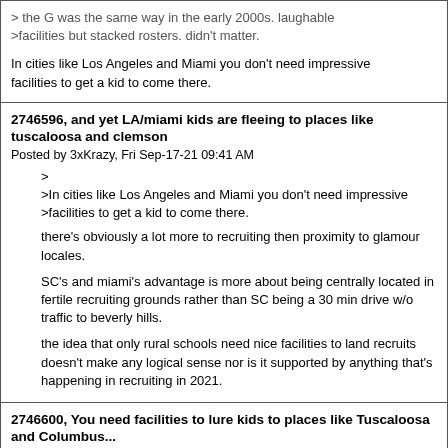> the G was the same way in the early 2000s. laughable >facilities but stacked rosters. didn't matter.

In cities like Los Angeles and Miami you don't need impressive facilities to get a kid to come there.
2746596, and yet LA/miami kids are fleeing to places like tuscaloosa and clemson
Posted by 3xKrazy, Fri Sep-17-21 09:41 AM
>
>In cities like Los Angeles and Miami you don't need impressive
>facilities to get a kid to come there.
there's obviously a lot more to recruiting then proximity to glamour locales.
SC's and miami's advantage is more about being centrally located in fertile recruiting grounds rather than SC being a 30 min drive w/o traffic to beverly hills.
the idea that only rural schools need nice facilities to land recruits doesn't make any logical sense nor is it supported by anything that's happening in recruiting in 2021.
2746600, You need facilities to lure kids to places like Tuscaloosa and Columbus...
Posted by ThaTruth, Fri Sep-17-21 11:58 AM
>>
>>In cities like Los Angeles and Miami you don't need
>impressive